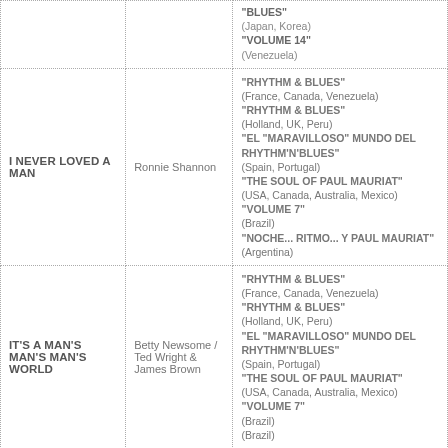| Song Title | Composer | Albums |
| --- | --- | --- |
|  |  | "BLUES"
(Japan, Korea)
"VOLUME 14"
(Venezuela) |
| I NEVER LOVED A MAN | Ronnie Shannon | "RHYTHM & BLUES" (France, Canada, Venezuela)
"RHYTHM & BLUES" (Holland, UK, Peru)
"EL "MARAVILLOSO" MUNDO DEL RHYTHM'N'BLUES" (Spain, Portugal)
"THE SOUL OF PAUL MAURIAT" (USA, Canada, Australia, Mexico)
"VOLUME 7" (Brazil)
"NOCHE... RITMO... Y PAUL MAURIAT" (Argentina) |
| IT'S A MAN'S MAN'S MAN'S WORLD | Betty Newsome / Ted Wright & James Brown | "RHYTHM & BLUES" (France, Canada, Venezuela)
"RHYTHM & BLUES" (Holland, UK, Peru)
"EL "MARAVILLOSO" MUNDO DEL RHYTHM'N'BLUES" (Spain, Portugal)
"THE SOUL OF PAUL MAURIAT" (USA, Canada, Australia, Mexico)
"VOLUME 7" (Brazil) |